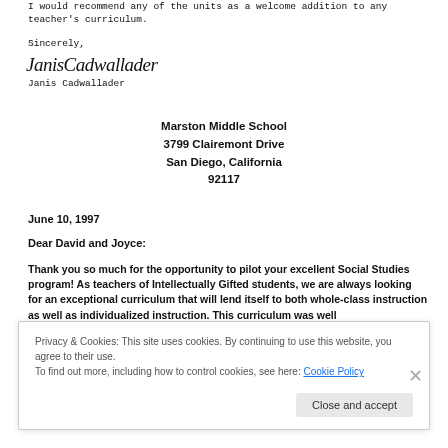I would recommend any of the units as a welcome addition to any teacher's curriculum.
Sincerely,
[Figure (illustration): Handwritten signature of Janis Cadwallader]
Janis Cadwallader
Marston Middle School
3799 Clairemont Drive
San Diego, California
92117
June 10, 1997
Dear David and Joyce:
Thank you so much for the opportunity to pilot your excellent Social Studies program!  As teachers of Intellectually Gifted students, we are always looking for an exceptional curriculum that will lend itself to both whole-class instruction as well as individualized instruction.  This curriculum was well
Privacy & Cookies: This site uses cookies. By continuing to use this website, you agree to their use.
To find out more, including how to control cookies, see here: Cookie Policy
Close and accept